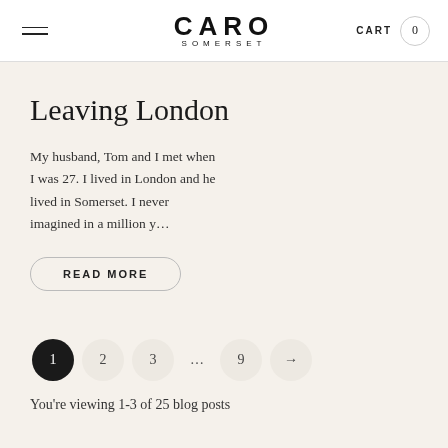CARO SOMERSET | CART 0
Leaving London
My husband, Tom and I met when I was 27. I lived in London and he lived in Somerset. I never imagined in a million y...
READ MORE
1  2  3  ...  9  →
You're viewing 1-3 of 25 blog posts